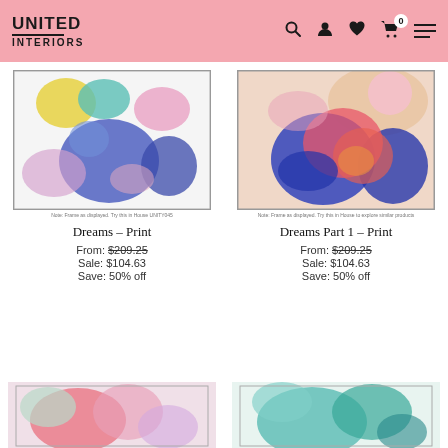UNITED INTERIORS — navigation header with logo, search, account, wishlist, cart (0), menu icons
[Figure (illustration): Abstract watercolor painting with yellow, teal, pink, and blue fluid shapes on white background — Dreams Print artwork]
Note: Frame as displayed. Try this in House UNITY045
Dreams – Print
From: $209.25
Sale: $104.63
Save: 50% off
[Figure (illustration): Abstract fluid art painting with vivid blue, pink, coral and peach tones — Dreams Part 1 Print artwork]
Note: Frame as displayed. Try this in House to explore similar products
Dreams Part 1 – Print
From: $209.25
Sale: $104.63
Save: 50% off
[Figure (illustration): Abstract painting with pink, coral, and light tones — partially visible at bottom of page]
[Figure (illustration): Abstract painting with teal and blue tones — partially visible at bottom of page]